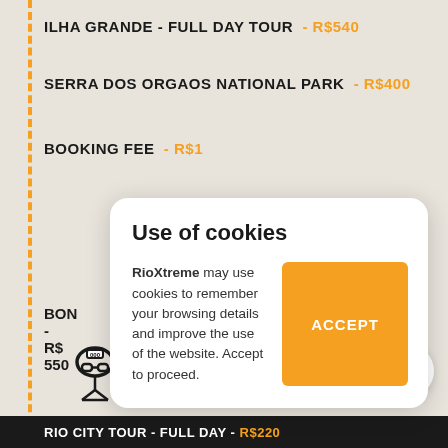ILHA GRANDE - FULL DAY TOUR - R$540
SERRA DOS ORGAOS NATIONAL PARK - R$400
BOOKING FEE - R$1
[Figure (screenshot): Cookie consent popup overlay with title 'Use of cookies', body text from RioXtreme, and an orange ACCEPT button]
CITY TOURS
RIO CITY TOUR - FULL DAY - R$220